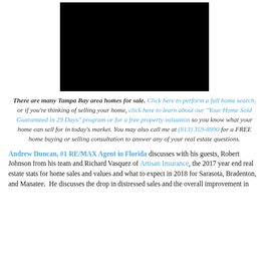[Figure (photo): Black video/image placeholder block centered at top of page]
There are many Tampa Bay area homes for sale. Click here to perform a full home search, or if you're thinking of selling your home, click here to learn about our "Your Home Sold Guaranteed in 29 Days" program or for a free property valuation so you know what your home can sell for in today's market. You may also call me at (813) 359-8990 for a FREE home buying or selling consultation to answer any of your real estate questions.
Andrew Duncan, #1 RE/MAX Agent in Florida discusses with his guests, Robert Johnson from his team and Richard Vasquez of Artisan Insurance, the 2017 year end real estate stats for home sales and values and what to expect in 2018 for Sarasota, Bradenton, and Manatee. He discusses the drop in distressed sales and the overall improvement in